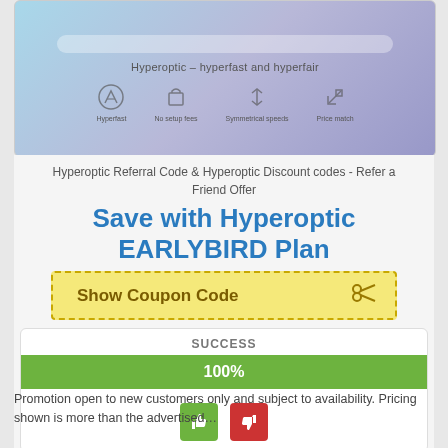[Figure (screenshot): Screenshot of Hyperoptic website showing the tagline 'Hyperoptic – hyperfast and hyperfair' with four icons: Hyperfast, No setup fees, Symmetrical speeds, Price match]
Hyperoptic Referral Code & Hyperoptic Discount codes - Refer a Friend Offer
Save with Hyperoptic EARLYBIRD Plan
Show Coupon Code ✂
SUCCESS
100%
Promotion open to new customers only and subject to availability. Pricing shown is more than the advertised…